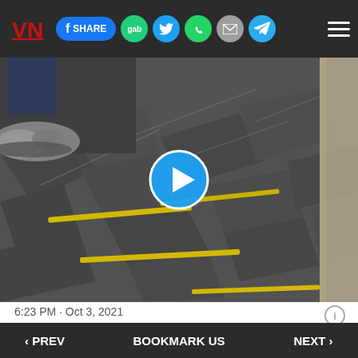Navigation bar with logo, share buttons (Facebook SHARE, gab, Twitter, WhatsApp, mail, Telegram), and hamburger menu
[Figure (photo): Video thumbnail showing a carpet floor with yellow distance-marking tape strips and a person's feet in gray shoes in the upper left corner. A blue play button circle is overlaid in the center.]
6:23 PM · Oct 3, 2021
15.8K   Reply   Copy link
Read 8.4K replies
‹ PREV   BOOKMARK US   NEXT ›